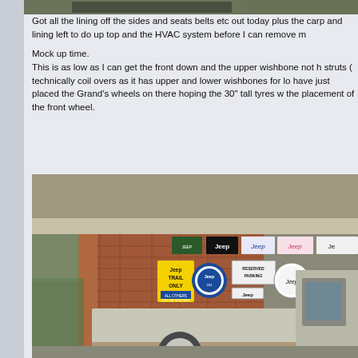[Figure (photo): Top portion of a photo showing an outdoor scene, partially visible at top of page]
Got all the lining off the sides and seats belts etc out today plus the carp and lining left to do up top and the HVAC system before I can remove m

Mock up time.
This is as low as I can get the front down and the upper wishbone not h struts ( technically coil overs as it has upper and lower wishbones for lo have just placed the Grand's wheels on there hoping the 30" tall tyres w the placement of the front wheel.
[Figure (photo): Photo of an old Jeep utility vehicle / truck under a carport with brick wall covered in Jeep branded signs and stickers including 'Jeep Trail Only', 'Reserved Parking', 'Jeep Country', etc.]